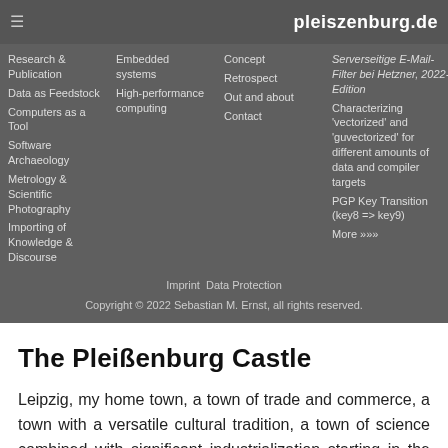pleiszenburg.de
Research & Publication
Data as Feedstock
Computers as a Tool
Software Archaeology
Metrology & Scientific Photography
Importing of Knowledge & Discourse
Embedded systems
High-performance computing
Concept
Retrospect
Out and about
Contact
Serverseitige E-Mail-Filter bei Hetzner, 2022-Edition
Characterizing 'vectorized' and 'guvectorized' for different amounts of data and compiler targets
PGP Key Transition (key8 => key9)
More »»»
Imprint  Data Protection
Copyright © 2022 Sebastian M. Ernst, all rights reserved.
The Pleißenburg Castle
Leipzig, my home town, a town of trade and commerce, a town with a versatile cultural tradition, a town of science combined with significant industrialization starting in the late 19th century, has seen an unparalleled change for its